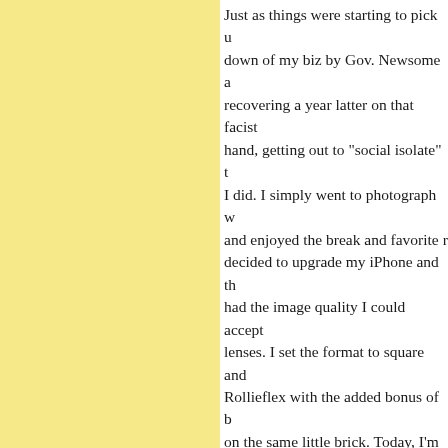Just as things were starting to pick up down of my biz by Gov. Newsome a recovering a year latter on that facist hand, getting out to "social isolate" t I did. I simply went to photograph w and enjoyed the break and favorite r decided to upgrade my iPhone and th had the image quality I could accept lenses. I set the format to square and Rollieflex with the added bonus of b on the same little brick. Today, I'm s phone. Business picked up a little, th year. It's a lost year for my biz but st Had I not been lazy, it may have bee cameras and shoot, but in the mean t still had fun with the vintage lenses!
Posted by: Лазо | Thursday, 08 July 2021 at 06:56 PM